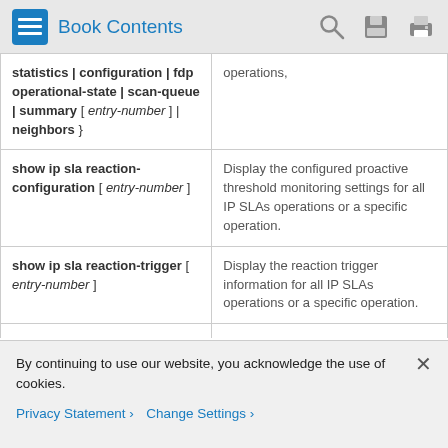Book Contents
| Command | Description |
| --- | --- |
| statistics | configuration | fdp operational-state | scan-queue | summary [ entry-number ] | neighbors } | operations, |
| show ip sla reaction-configuration [ entry-number ] | Display the configured proactive threshold monitoring settings for all IP SLAs operations or a specific operation. |
| show ip sla reaction-trigger [ entry-number ] | Display the reaction trigger information for all IP SLAs operations or a specific operation. |
By continuing to use our website, you acknowledge the use of cookies.
Privacy Statement >   Change Settings >